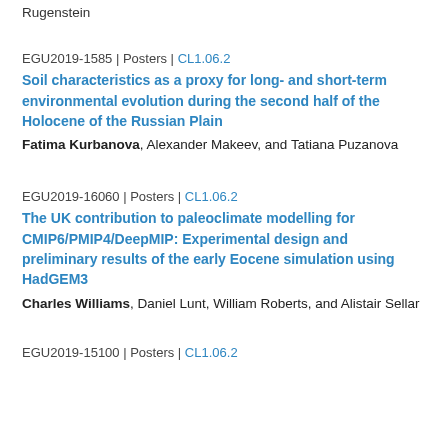Rugenstein
EGU2019-1585 | Posters | CL1.06.2
Soil characteristics as a proxy for long- and short-term environmental evolution during the second half of the Holocene of the Russian Plain
Fatima Kurbanova, Alexander Makeev, and Tatiana Puzanova
EGU2019-16060 | Posters | CL1.06.2
The UK contribution to paleoclimate modelling for CMIP6/PMIP4/DeepMIP: Experimental design and preliminary results of the early Eocene simulation using HadGEM3
Charles Williams, Daniel Lunt, William Roberts, and Alistair Sellar
EGU2019-15100 | Posters | CL1.06.2